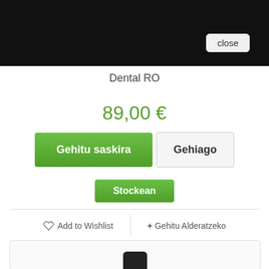[Figure (screenshot): Black navigation bar at top of modal/popup window]
close
Dental RO
89,00 €
Gehitu saskira
Gehiago
Stockean
Add to Wishlist
+ Gehitu Alderatzeko
[Figure (photo): Partial view of a dark bottle with black cap at bottom of page]